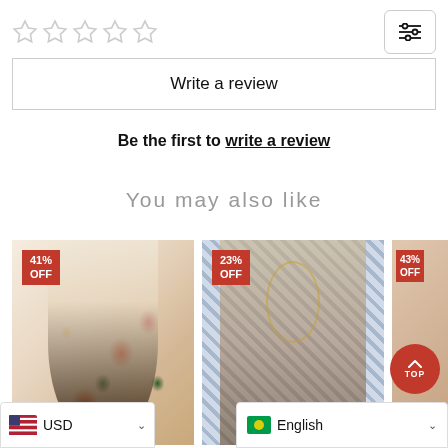[Figure (other): Five empty star rating icons in a row]
Write a review
Be the first to write a review
You may also like
[Figure (photo): Product photo of a floral print V-neck short sleeve shirt, 41% OFF badge]
[Figure (photo): Product photo of a blue patterned sleeveless top with necklace, 23% OFF badge]
[Figure (photo): Partial product photo with 43% OFF badge]
USD
English